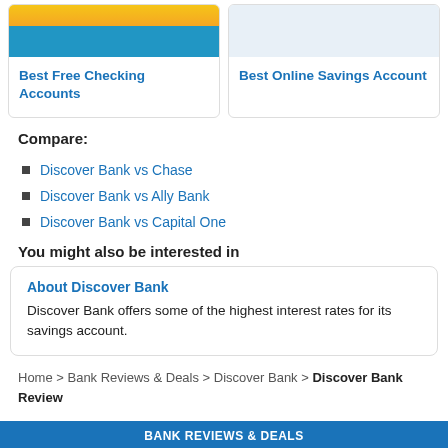[Figure (screenshot): Two card thumbnails: Best Free Checking Accounts (with yellow/blue image) and Best Online Savings Account (blue background)]
Best Free Checking Accounts
Best Online Savings Account
Compare:
Discover Bank vs Chase
Discover Bank vs Ally Bank
Discover Bank vs Capital One
You might also be interested in
About Discover Bank
Discover Bank offers some of the highest interest rates for its savings account.
Home > Bank Reviews & Deals > Discover Bank > Discover Bank Review
BANK REVIEWS & DEALS